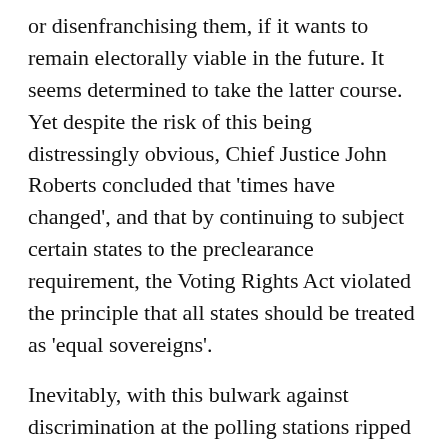or disenfranchising them, if it wants to remain electorally viable in the future. It seems determined to take the latter course. Yet despite the risk of this being distressingly obvious, Chief Justice John Roberts concluded that 'times have changed', and that by continuing to subject certain states to the preclearance requirement, the Voting Rights Act violated the principle that all states should be treated as 'equal sovereigns'.
Inevitably, with this bulwark against discrimination at the polling stations ripped away by the Court, discriminatory laws surged forth. As Justice Ruth Bader Ginsburg said in her dissenting opinion, stripping away federal oversight because black people were no longer